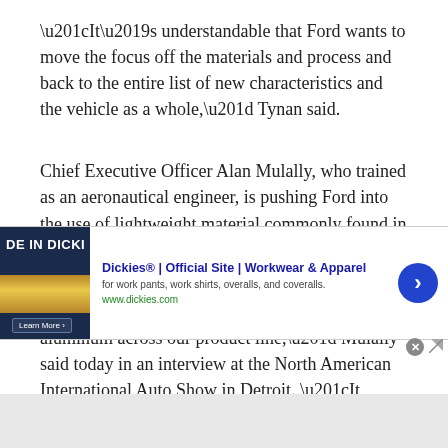“It’s understandable that Ford wants to move the focus off the materials and process and back to the entire list of new characteristics and the vehicle as a whole,” Tynan said.
Chief Executive Officer Alan Mulally, who trained as an aeronautical engineer, is pushing Ford into the use of lightweight material commonly found in planes.
“Over time, you’ll see more and more aluminum across our product line,” Mulally said today in an interview at the North American International Auto Show in Detroit. “It makes the most sense on the bigger vehicles because of the value you generate.”
‘Fuel Efficiency’
[Figure (other): Advertisement banner for Dickies workwear showing 'DE IN DICKI' text on dark background with golden landscape, Dickies® | Official Site | Workwear & Apparel headline, subtitle 'for work pants, work shirts, overalls, and coveralls.', url www.dickies.com, close button, and blue circular arrow button]